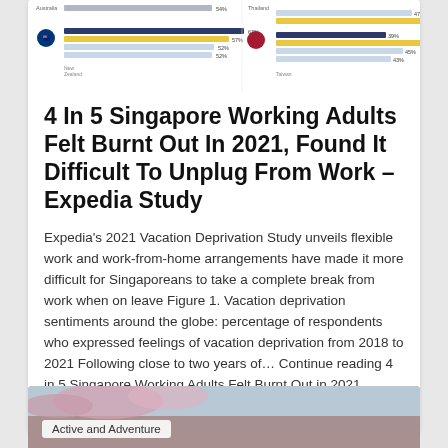[Figure (bar-chart): Horizontal bar chart showing vacation deprivation sentiments by country (Australia, New Zealand, Thailand, Taiwan) with percentages for years 2018-2021]
4 In 5 Singapore Working Adults Felt Burnt Out In 2021, Found It Difficult To Unplug From Work – Expedia Study
Expedia's 2021 Vacation Deprivation Study unveils flexible work and work-from-home arrangements have made it more difficult for Singaporeans to take a complete break from work when on leave Figure 1. Vacation deprivation sentiments around the globe: percentage of respondents who expressed feelings of vacation deprivation from 2018 to 2021 Following close to two years of… Continue reading 4 in 5 Singapore Working Adults Felt Burnt Out in 2021, Found it Difficult to Unplug from Work – Expedia Study
[Figure (photo): Photo with pink flowers / cherry blossoms, partially visible at bottom of page with 'Active and Adventure' label pill]